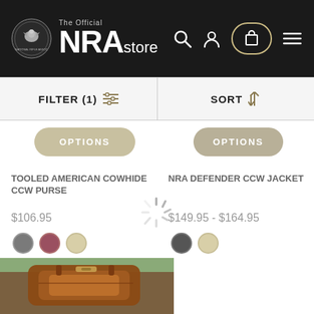[Figure (screenshot): NRA Store website header with logo, search, account, cart, and menu icons on black background]
FILTER (1)  SORT
OPTIONS
TOOLED AMERICAN COWHIDE CCW PURSE
$106.95
OPTIONS
NRA DEFENDER CCW JACKET
$149.95 - $164.95
[Figure (photo): Brown leather bag/purse product image at bottom of page]